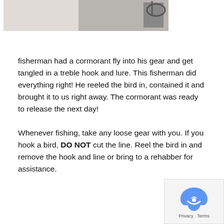[Figure (photo): Partial view of a white bird (cormorant) with a metallic hook/lure visible, cropped at the top of the page.]
fisherman had a cormorant fly into his gear and get tangled in a treble hook and lure. This fisherman did everything right! He reeled the bird in, contained it and brought it to us right away. The cormorant was ready to release the next day!
Whenever fishing, take any loose gear with you. If you hook a bird, DO NOT cut the line. Reel the bird in and remove the hook and line or bring to a rehabber for assistance.